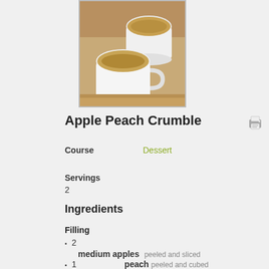[Figure (photo): Photo of Apple Peach Crumble in white ramekins/cups with crumble topping on a wooden surface]
Apple Peach Crumble
Course   Dessert
Servings
2
Ingredients
Filling
2  medium apples  peeled and sliced
1  peach  peeled and cubed